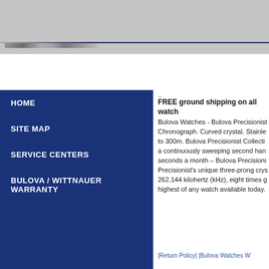[Figure (other): Gray header banner with Bulova logo/brand line at top of page]
HOME
SITE MAP
SERVICE CENTERS
BULOVA / WITTNAUER WARRANTY
..
FREE ground shipping on all watch
Bulova Watches - Bulova Precisionist Chronograph. Curved crystal. Stainless to 300m. Bulova Precisionist Collection a continuously sweeping second hand seconds a month – Bulova Precisionist's unique three-prong crys 262.144 kilohertz (kHz), eight times g highest of any watch available today.
|Return Policy| |Bulova Watches W